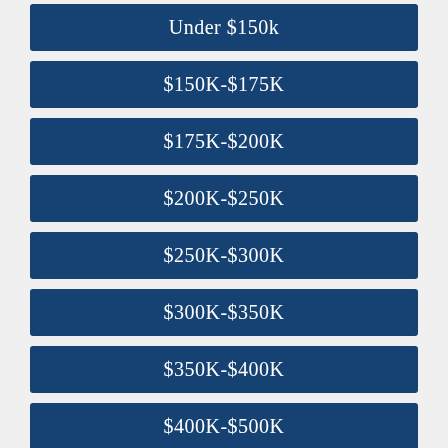Under $150k
$150K-$175K
$175K-$200K
$200K-$250K
$250K-$300K
$300K-$350K
$350K-$400K
$400K-$500K
Over $500K